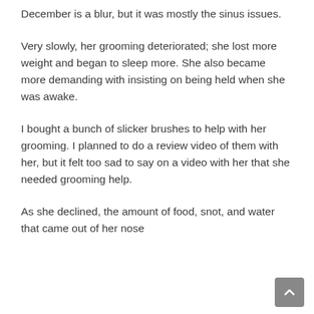December is a blur, but it was mostly the sinus issues.
Very slowly, her grooming deteriorated; she lost more weight and began to sleep more. She also became more demanding with insisting on being held when she was awake.
I bought a bunch of slicker brushes to help with her grooming. I planned to do a review video of them with her, but it felt too sad to say on a video with her that she needed grooming help.
As she declined, the amount of food, snot, and water that came out of her nose